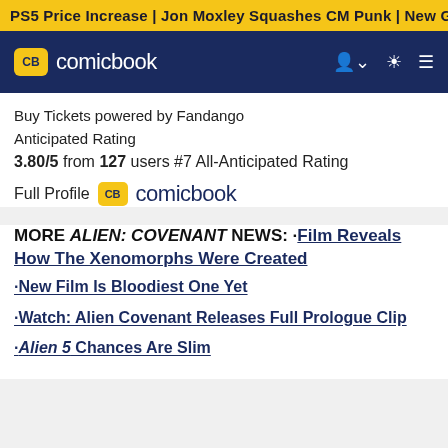PS5 Price Increase | Jon Moxley Squashes CM Punk | New Ge
CB comicbook
Buy Tickets powered by Fandango
Anticipated Rating
3.80/5 from 127 users #7 All-Anticipated Rating
Full Profile CB comicbook
MORE ALIEN: COVENANT NEWS: ·Film Reveals How The Xenomorphs Were Created
·New Film Is Bloodiest One Yet
·Watch: Alien Covenant Releases Full Prologue Clip
·Alien 5 Chances Are Slim